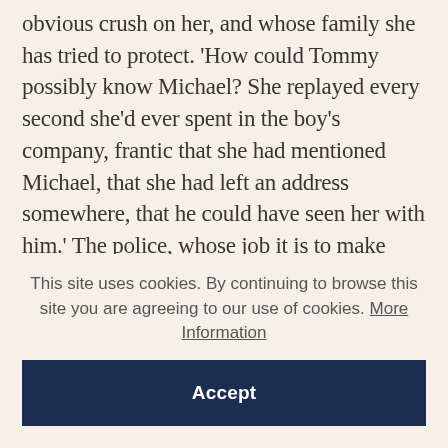obvious crush on her, and whose family she has tried to protect. 'How could Tommy possibly know Michael? She replayed every second she'd ever spent in the boy's company, frantic that she had mentioned Michael, that she had left an address somewhere, that he could have seen her with him.' The police, whose job it is to make everything fit together, often to the benefit of one community rather than the other, sketch a similar narrative. 'It's not looking great,' one officer warns her. 'If there's a connection, I'll find it.' To be a
This site uses cookies. By continuing to browse this site you are agreeing to our use of cookies. More Information
Accept